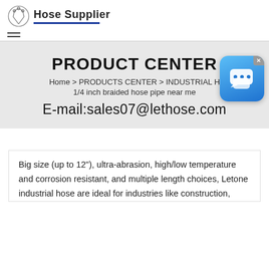Hose Supplier
PRODUCT CENTER
Home > PRODUCTS CENTER > INDUSTRIAL H... 1/4 inch braided hose pipe near me
E-mail:sales07@lethose.com
Big size (up to 12"), ultra-abrasion, high/low temperature and corrosion resistant, and multiple length choices, Letone industrial hose are ideal for industries like construction,